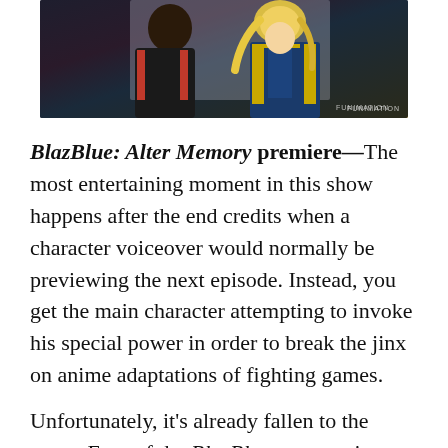[Figure (photo): Anime screenshot showing characters in detailed costumes — appears to be from BlazBlue: Alter Memory. A character in dark outfit with red details on the left, and a blonde character in a blue military-style uniform on the right. 'FUNIMATION' watermark visible in lower right.]
BlazBlue: Alter Memory premiere—The most entertaining moment in this show happens after the end credits when a character voiceover would normally be previewing the next episode. Instead, you get the main character attempting to invoke his special power in order to break the jinx on anime adaptations of fighting games.
Unfortunately, it's already fallen to the curse. Fans of the BlazBlue game series will be delighted every time a new character appears on screen and they can check out how their favorites look in fully animated HD. For anyone who isn't a fan of the game, it's just a bunch of people in ridiculously overdesigned outfits beating the stuffing out of